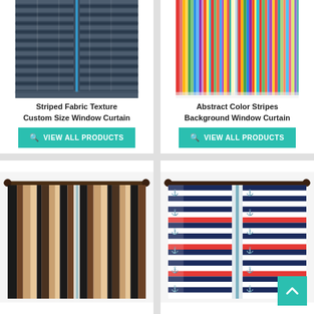[Figure (photo): Striped fabric texture curtain in dark navy/grey horizontal stripes with a central blue vertical stripe]
Striped Fabric Texture Custom Size Window Curtain
VIEW ALL PRODUCTS
[Figure (photo): Abstract colorful vertical stripes curtain in rainbow colors]
Abstract Color Stripes Background Window Curtain
VIEW ALL PRODUCTS
[Figure (photo): Brown and black vertical striped curtain hung on a curtain rod]
[Figure (photo): Nautical anchor pattern curtain with red, white and navy stripes, hung on a curtain rod, with teal scroll-to-top button overlay]